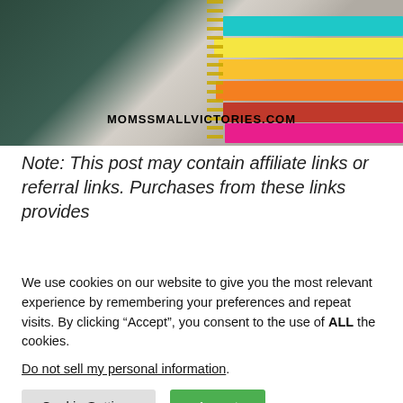[Figure (photo): Photo of notebooks and planners on a white wood surface. A dark teal notebook is on the left, and colorful spiral-bound planners with teal, yellow, orange, red, and pink striped pages are on the right. A gold spiral coil is visible. The watermark 'MOMSSMALLVICTORIES.COM' appears in bold black text over the image.]
Note: This post may contain affiliate links or referral links. Purchases from these links provides
We use cookies on our website to give you the most relevant experience by remembering your preferences and repeat visits. By clicking “Accept”, you consent to the use of ALL the cookies.
Do not sell my personal information.